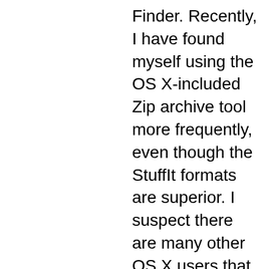Finder. Recently, I have found myself using the OS X-included Zip archive tool more frequently, even though the StuffIt formats are superior. I suspect there are many other OS X users that have followed similar practices.
In writing this review, I wanted to find out what StuffIt offers over the free Zip compression that makes it worth the price? Much to my surprise, I found many